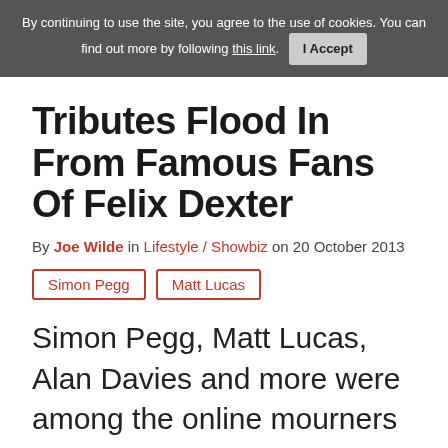By continuing to use the site, you agree to the use of cookies. You can find out more by following this link. I Accept
Tributes Flood In From Famous Fans Of Felix Dexter
By Joe Wilde in Lifestyle / Showbiz on 20 October 2013
Simon Pegg
Matt Lucas
Simon Pegg, Matt Lucas, Alan Davies and more were among the online mourners giving their last